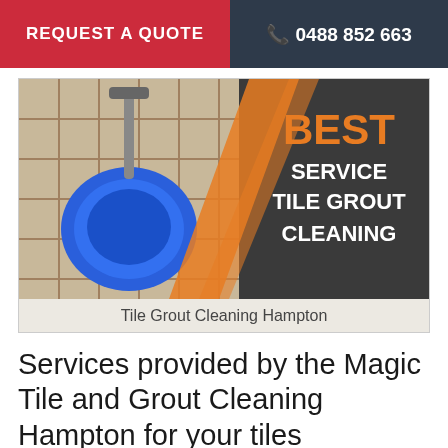REQUEST A QUOTE   📞 0488 852 663
[Figure (illustration): Banner image showing a blue tile cleaning machine on tiled floor with orange diagonal stripe design and dark background panel on the right with text: BEST SERVICE TILE GROUT CLEANING]
Tile Grout Cleaning Hampton
Services provided by the Magic Tile and Grout Cleaning Hampton for your tiles
Tiles cleaning